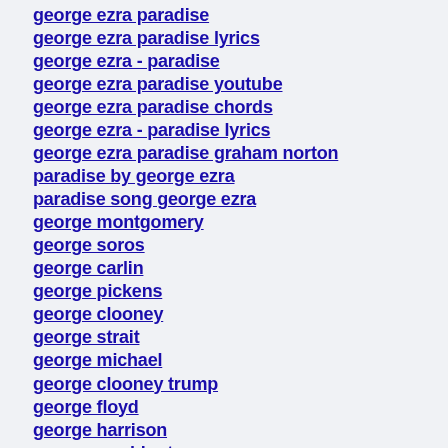george ezra paradise
george ezra paradise lyrics
george ezra - paradise
george ezra paradise youtube
george ezra paradise chords
george ezra - paradise lyrics
george ezra paradise graham norton
paradise by george ezra
paradise song george ezra
george montgomery
george soros
george carlin
george pickens
george clooney
george strait
george michael
george clooney trump
george floyd
george harrison
george washington